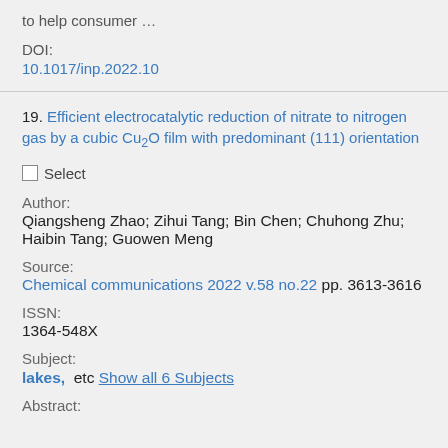to help consumer …
DOI:
10.1017/inp.2022.10
19. Efficient electrocatalytic reduction of nitrate to nitrogen gas by a cubic Cu₂O film with predominant (111) orientation
Select
Author:
Qiangsheng Zhao; Zihui Tang; Bin Chen; Chuhong Zhu; Haibin Tang; Guowen Meng
Source:
Chemical communications 2022 v.58 no.22 pp. 3613-3616
ISSN:
1364-548X
Subject:
lakes,  etc Show all 6 Subjects
Abstract: